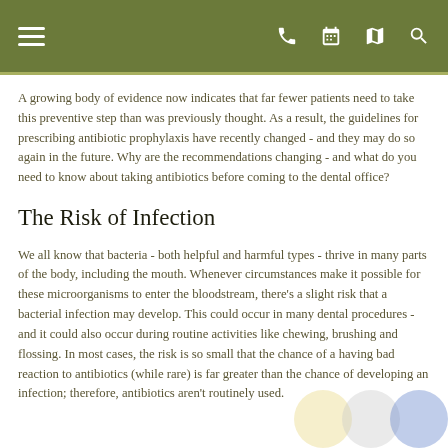[Navigation bar with hamburger menu, phone, calendar, map, and search icons]
A growing body of evidence now indicates that far fewer patients need to take this preventive step than was previously thought. As a result, the guidelines for prescribing antibiotic prophylaxis have recently changed - and they may do so again in the future. Why are the recommendations changing - and what do you need to know about taking antibiotics before coming to the dental office?
The Risk of Infection
We all know that bacteria - both helpful and harmful types - thrive in many parts of the body, including the mouth. Whenever circumstances make it possible for these microorganisms to enter the bloodstream, there's a slight risk that a bacterial infection may develop. This could occur in many dental procedures - and it could also occur during routine activities like chewing, brushing and flossing. In most cases, the risk is so small that the chance of a having bad reaction to antibiotics (while rare) is far greater than the chance of developing an infection; therefore, antibiotics aren't routinely used.